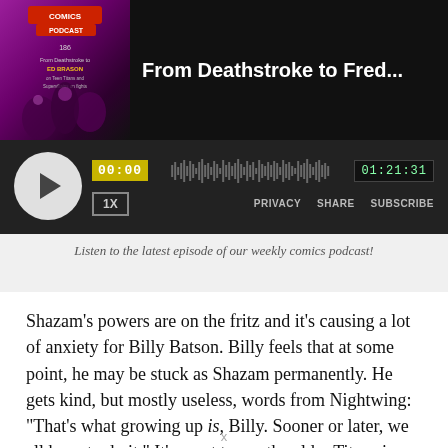[Figure (screenshot): Podcast player widget with thumbnail, play button, waveform, timestamps 00:00 and 01:21:31, speed control 1X, and links for PRIVACY, SHARE, SUBSCRIBE. Title reads 'From Deathstroke to Fred...']
Listen to the latest episode of our weekly comics podcast!
Shazam’s powers are on the fritz and it’s causing a lot of anxiety for Billy Batson. Billy feels that at some point, he may be stuck as Shazam permanently. He gets kind, but mostly useless, words from Nightwing: “That’s what growing up is, Billy. Sooner or later, we all have to do it.” It’s great to see the elder Titans in these mentor roles, and seeing them from Billy’s perspective adds another